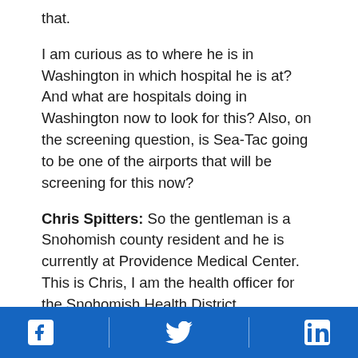that.
I am curious as to where he is in Washington in which hospital he is at? And what are hospitals doing in Washington now to look for this? Also, on the screening question, is Sea-Tac going to be one of the airports that will be screening for this now?
Chris Spitters: So the gentleman is a Snohomish county resident and he is currently at Providence Medical Center.  This is Chris, I am the health officer for the Snohomish Health District.
Marty Cetron:  I think it’s important to point out that all the quarantine stations do enhanced education and respond to any illness report. I
[Facebook] [Twitter] [LinkedIn]